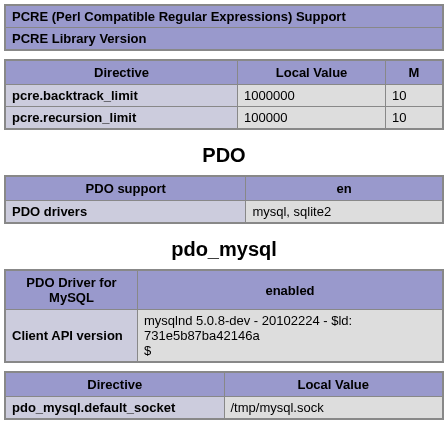| PCRE (Perl Compatible Regular Expressions) Support |
| --- |
| PCRE Library Version |
| Directive | Local Value | Master Value |
| --- | --- | --- |
| pcre.backtrack_limit | 1000000 | 10... |
| pcre.recursion_limit | 100000 | 10... |
PDO
| PDO support | en... |
| --- | --- |
| PDO drivers | mysql, sqlite2 |
pdo_mysql
| PDO Driver for MySQL | enabled |
| --- | --- |
| Client API version | mysqlnd 5.0.8-dev - 20102224 - $ld: 731e5b87ba42146a
$ |
| Directive | Local Value |
| --- | --- |
| pdo_mysql.default_socket | /tmp/mysql.sock |